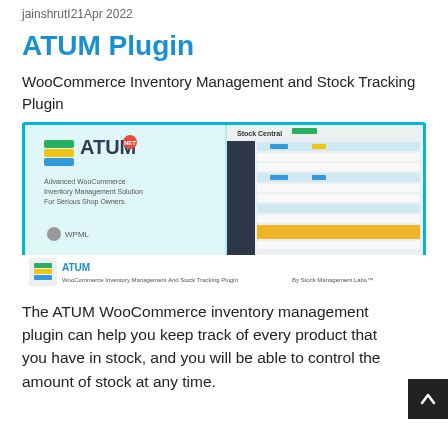jainshrutI21Apr 2022
ATUM Plugin
WooCommerce Inventory Management and Stock Tracking Plugin
[Figure (screenshot): Screenshot of the ATUM WooCommerce Inventory Management and Stock Tracking Plugin product image, showing the ATUM logo and dashboard screenshot, with a caption bar at the bottom reading 'ATUM – WooCommerce Inventory Management And Stock Tracking Plugin – By Stock Management Labs™']
The ATUM WooCommerce inventory management plugin can help you keep track of every product that you have in stock, and you will be able to control the amount of stock at any time.